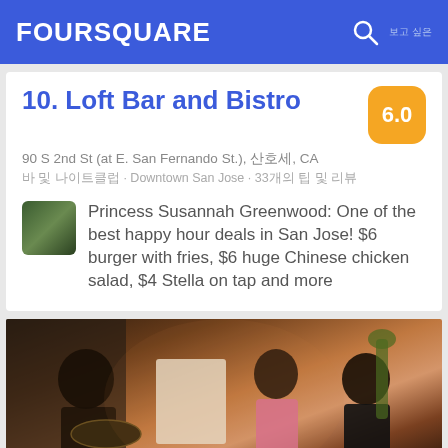FOURSQUARE
10. Loft Bar and Bistro
90 S 2nd St (at E. San Fernando St.), 산호세, CA
바 및 나이트클럽 · Downtown San Jose · 33개의 팁 및 리뷰
Princess Susannah Greenwood: One of the best happy hour deals in San Jose! $6 burger with fries, $6 huge Chinese chicken salad, $4 Stella on tap and more
[Figure (photo): Photo of people at a bar/nightclub event, showing musicians and people with instruments, taken at Loft Bar and Bistro]